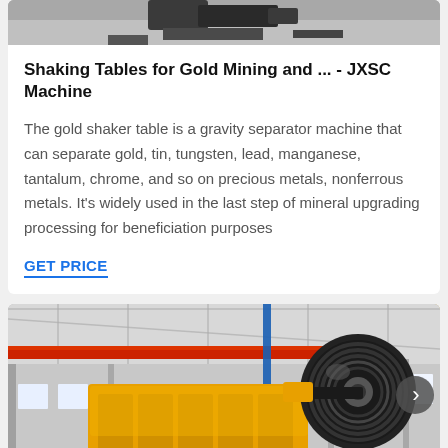[Figure (photo): Top portion of a shaking table machine, partially visible, showing dark mechanical components against a gray background]
Shaking Tables for Gold Mining and ... - JXSC Machine
The gold shaker table is a gravity separator machine that can separate gold, tin, tungsten, lead, manganese, tantalum, chrome, and so on precious metals, nonferrous metals. It's widely used in the last step of mineral upgrading processing for beneficiation purposes
GET PRICE
[Figure (photo): Yellow jaw crusher machine in a factory/warehouse setting with industrial ceiling and red overhead crane visible in background]